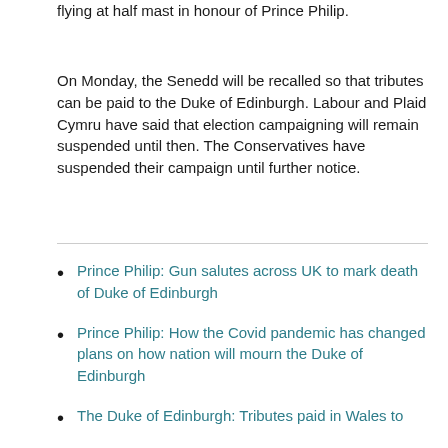flying at half mast in honour of Prince Philip.
On Monday, the Senedd will be recalled so that tributes can be paid to the Duke of Edinburgh. Labour and Plaid Cymru have said that election campaigning will remain suspended until then. The Conservatives have suspended their campaign until further notice.
Prince Philip: Gun salutes across UK to mark death of Duke of Edinburgh
Prince Philip: How the Covid pandemic has changed plans on how nation will mourn the Duke of Edinburgh
The Duke of Edinburgh: Tributes paid in Wales to Prince Philip following announcement of death